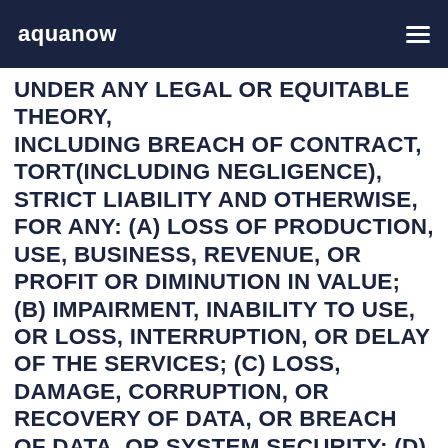aquanow
UNDER ANY LEGAL OR EQUITABLE THEORY, INCLUDING BREACH OF CONTRACT, TORT(INCLUDING NEGLIGENCE), STRICT LIABILITY AND OTHERWISE, FOR ANY: (A) LOSS OF PRODUCTION, USE, BUSINESS, REVENUE, OR PROFIT OR DIMINUTION IN VALUE; (B) IMPAIRMENT, INABILITY TO USE, OR LOSS, INTERRUPTION, OR DELAY OF THE SERVICES; (C) LOSS, DAMAGE, CORRUPTION, OR RECOVERY OF DATA, OR BREACH OF DATA, OR SYSTEM SECURITY; (D) LOSS OF DIGITAL ASSETS; OR (E) CONSEQUENTIAL, INCIDENTAL, INDIRECT, EXEMPLARY, SPECIAL, ENHANCED, OR PUNITIVE DAMAGES, REGARDLESS OF WHETHER CLTS OR THE CLTS ASSOCIATES WERE ADVISED OF THE POSSIBILITY OF SUCH LOSSES OR DAMAGES OR SUCH LOSSES OR DAMAGES WERE OTHERWISE FORESEEABLE, AND NOTWITHSTANDING THE